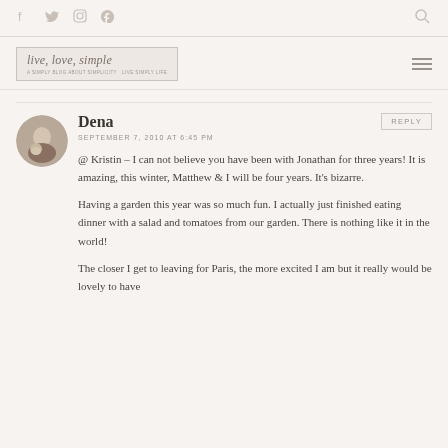Social icons: Facebook, Twitter, Instagram, Pinterest; Search icon
[Figure (logo): live, love, simple blog logo with decorative script text and subtitle]
Dena
SEPTEMBER 7, 2010 AT 6:45 PM
@ Kristin – I can not believe you have been with Jonathan for three years! It is amazing, this winter, Matthew & I will be four years. It's bizarre.
Having a garden this year was so much fun. I actually just finished eating dinner with a salad and tomatoes from our garden. There is nothing like it in the world!
The closer I get to leaving for Paris, the more excited I am but it really would be lovely to have